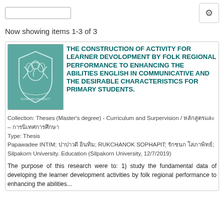Now showing items 1-3 of 3
THE CONSTRUCTION OF ACTIVITY FOR LEARNER DEVOLOPMENT BY FOLK REGIONAL PERFORMANCE TO ENHANCING THE ABILITIES ENGLISH IN COMMUNICATIVE AND THE DESIRABLE CHARACTERISTICS FOR PRIMARY STUDENTS.
Collection: Theses (Master's degree) - Curriculum and Surpervision / หลักสูตรและ – การนิเทศการศึกษา
Type: Thesis
Papawadee INTIM; ปาปาวดี อินทิม; RUKCHANOK SOPHAPIT; รักชนก โสภาพิทย์; Silpakorn University. Education (Silpakorn University, 12/7/2019)
The purpose of this research were to: 1) study the fundamental data of developing the learner development activities by folk regional performance to enhancing the abilities...